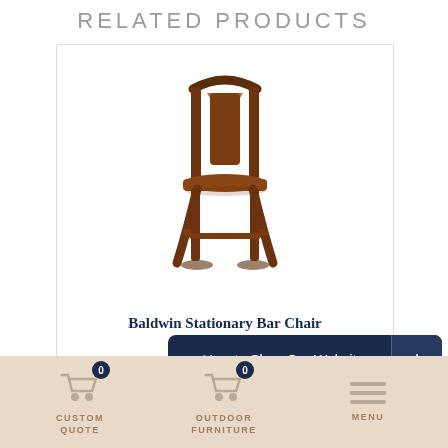RELATED PRODUCTS
[Figure (photo): A wooden Baldwin Stationary Bar Chair with dark walnut finish, upright back with curved top rail and solid wood seat, photographed on white background]
Baldwin Stationary Bar Chair
Starting at $488
How to Shop Our Website +
CUSTOM QUOTE
OUTDOOR FURNITURE
MENU